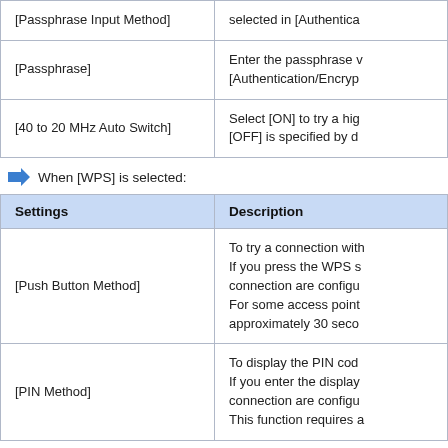| Settings | Description |
| --- | --- |
| [Passphrase Input Method] | selected in [Authentica... |
| [Passphrase] | Enter the passphrase v... [Authentication/Encryp... |
| [40 to 20 MHz Auto Switch] | Select [ON] to try a hig... [OFF] is specified by d... |
When [WPS] is selected:
| Settings | Description |
| --- | --- |
| [Push Button Method] | To try a connection with... If you press the WPS s... connection are configu... For some access point... approximately 30 seco... |
| [PIN Method] | To display the PIN cod... If you enter the display... connection are configu... This function requires a... |